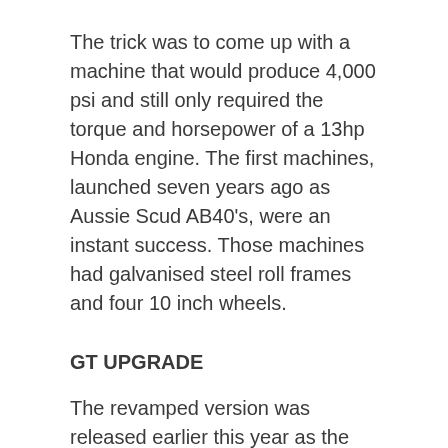The trick was to come up with a machine that would produce 4,000 psi and still only required the torque and horsepower of a 13hp Honda engine. The first machines, launched seven years ago as Aussie Scud AB40's, were an instant success. Those machines had galvanised steel roll frames and four 10 inch wheels.
GT UPGRADE
The revamped version was released earlier this year as the “AB40 GT”. It features an upgraded Bertolini TMG pump and is powered by a Honda 13hp recoil start engine.
The sculpted, stainless steel frame has no